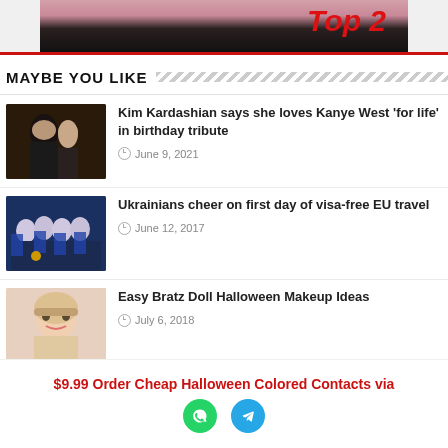[Figure (photo): Partial image of eye makeup with 'Top 2' text in red]
MAYBE YOU LIKE
Kim Kardashian says she loves Kanye West 'for life' in birthday tribute — June 9, 2021
Ukrainians cheer on first day of visa-free EU travel — June 12, 2017
Easy Bratz Doll Halloween Makeup Ideas — July 6, 2018
Kylie Jenner Flashes Serious Underboob on (truncated)
$9.99 Order Cheap Halloween Colored Contacts via